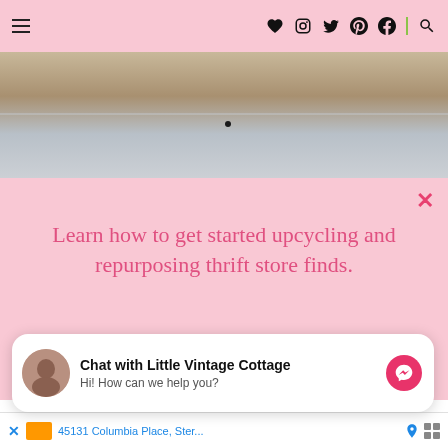Navigation header with hamburger menu and social icons: heart, Instagram, Twitter, Pinterest, Facebook, and search
[Figure (photo): Close-up photo of a surface with beige/tan upper area and light gray lower area, showing what appears to be a wall or furniture piece with a small dark spot]
Learn how to get started upcycling and repurposing thrift store finds.
[Figure (other): Pink CTA button with text GET THE FREE GUIDE]
Chat with Little Vintage Cottage
Hi! How can we help you?
45131 Columbia Place, Ster...